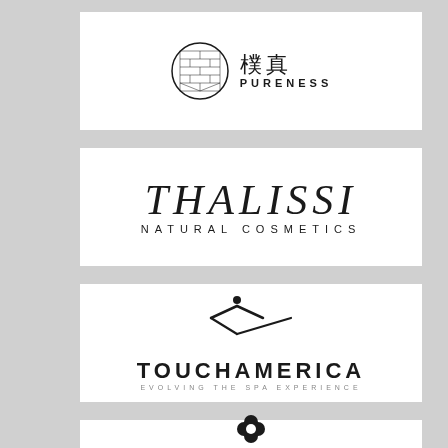[Figure (logo): Pureness brand logo with circular Asian-style emblem and Chinese characters 樸真 with PURENESS text below]
[Figure (logo): Thalissi Natural Cosmetics logo in serif font]
[Figure (logo): TouchAmerica logo with stylized figure/roof icon and tagline EVOLVING THE SPA EXPERIENCE]
[Figure (logo): Universal Companies logo with four-petal flower icon above text]